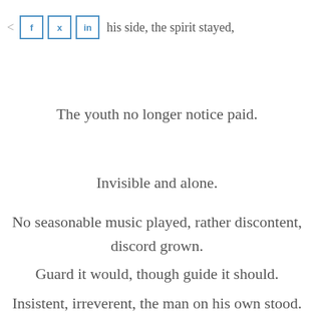his side, the spirit stayed,
The youth no longer notice paid.
Invisible and alone.
No seasonable music played, rather discontent, discord grown.
Guard it would, though guide it should.
Insistent, irreverent, the man on his own stood.